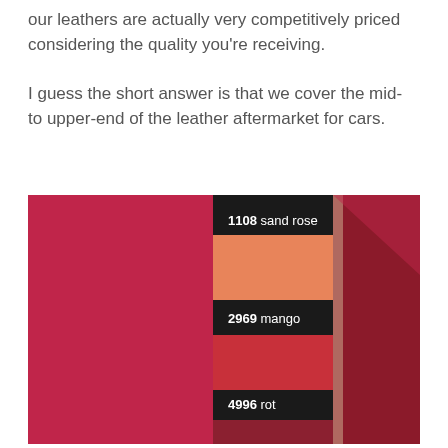our leathers are actually very competitively priced considering the quality you're receiving.

I guess the short answer is that we cover the mid- to upper-end of the leather aftermarket for cars.
[Figure (photo): A close-up photo of leather swatches in shades of red and orange, alongside a sample book showing labeled color swatches: 1108 sand rose (orange), 2969 mango (red-orange), and 4996 rot (dark red).]